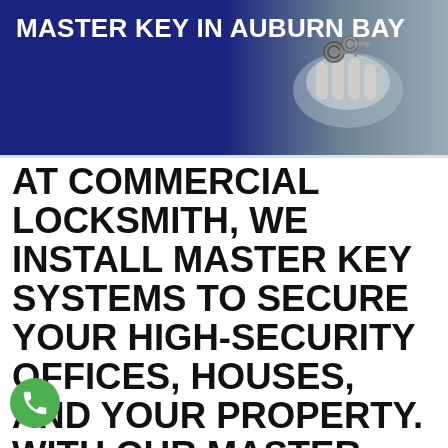[Figure (photo): Header image showing a hand holding keys on a dark blue to grey background]
MASTER KEY IN AUBURN BAY
AT COMMERCIAL LOCKSMITH, WE INSTALL MASTER KEY SYSTEMS TO SECURE YOUR HIGH-SECURITY OFFICES, HOUSES, AND YOUR PROPERTY. WITH OUR MASTER KEY ONLY AUTHORIZED PERSON OR PERSON WITH THE MASTER KEY HAVE ACCESS TO ALL LOCKS